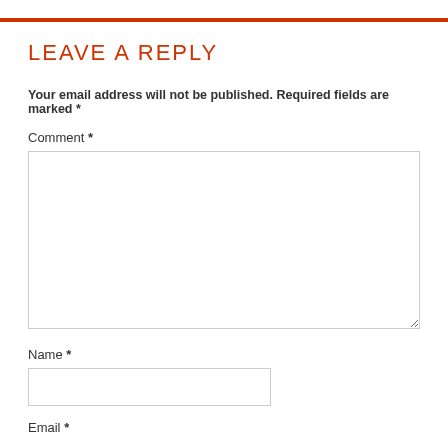LEAVE A REPLY
Your email address will not be published. Required fields are marked *
Comment *
Name *
Email *